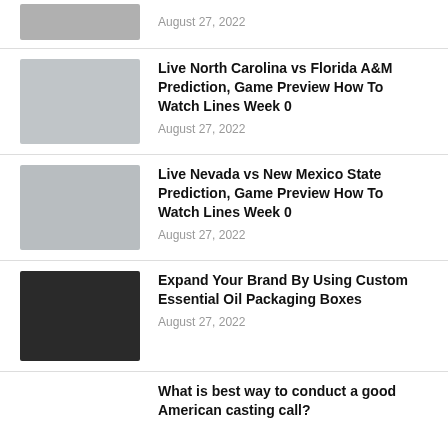[Figure (photo): Partial image of article thumbnail, cut off at top — sports/helmets scene]
August 27, 2022
[Figure (photo): Football players huddled, possibly North Carolina vs Florida A&M game]
Live North Carolina vs Florida A&M Prediction, Game Preview How To Watch Lines Week 0
August 27, 2022
[Figure (photo): Football players on field, Nevada vs New Mexico State game]
Live Nevada vs New Mexico State Prediction, Game Preview How To Watch Lines Week 0
August 27, 2022
[Figure (photo): Dark box/tray with colorful essential oil products arranged inside]
Expand Your Brand By Using Custom Essential Oil Packaging Boxes
August 27, 2022
What is best way to conduct a good American casting call?